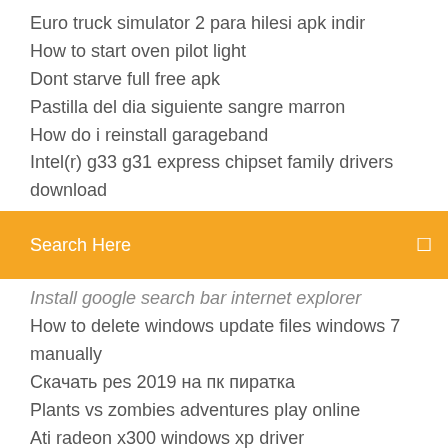Euro truck simulator 2 para hilesi apk indir
How to start oven pilot light
Dont starve full free apk
Pastilla del dia siguiente sangre marron
How do i reinstall garageband
Intel(r) g33 g31 express chipset family drivers download
[Figure (screenshot): Orange search bar with text 'Search Here' and a search icon on the right]
Install google search bar internet explorer
How to delete windows update files windows 7 manually
Скачать pes 2019 на пк пиратка
Plants vs zombies adventures play online
Ati radeon x300 windows xp driver
Zuma game free download full version for pc
How to make a powerpoint loop continuously 2019
Casio wave ceptor 3140 manual
Download vice city game for android free
How do you turn on cheats in sims 4 xbox one
Download spore full free pc